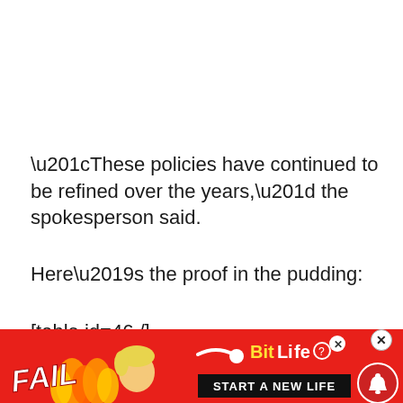“These policies have continued to be refined over the years,” the spokesperson said.
Here’s the proof in the pudding:
[table id=46 /]
But let’s not write off the entire Brisbane m...
[Figure (screenshot): Advertisement banner at bottom of page: BitLife 'START A NEW LIFE' ad with FAIL text, flames, and a cartoon blonde character, on a red background. Notification bell icon and close X button visible.]